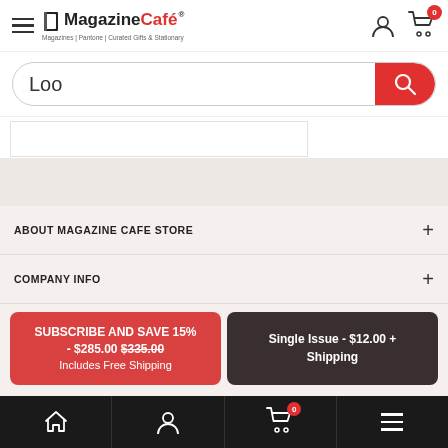[Figure (screenshot): Magazine Cafe store website header with hamburger menu, logo, user icon and cart icon with badge showing 0]
Loo
ABOUT MAGAZINE CAFE STORE +
COMPANY INFO +
SUBSCRIBE AND SAVE 15% - $285.00 $335.00 Includes Free Shipping
Single Issue - $12.00 + Shipping
[Figure (screenshot): Bottom navigation bar with home, account, cart (badge 0), and menu icons on black background]